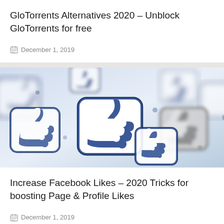GloTorrents Alternatives 2020 – Unblock GloTorrents for free
December 1, 2019
[Figure (photo): Multiple Facebook-style 3D thumbs up like icons scattered, blue and white colored, on a light background]
Increase Facebook Likes – 2020 Tricks for boosting Page & Profile Likes
December 1, 2019